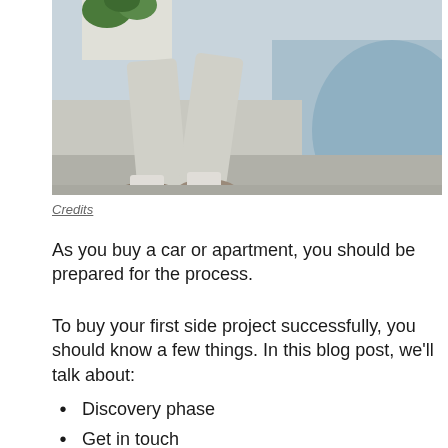[Figure (photo): A person sitting outdoors, wearing light grey pants and sneakers, with a potted plant and a blue surface visible in the background.]
Credits
As you buy a car or apartment, you should be prepared for the process.
To buy your first side project successfully, you should know a few things. In this blog post, we'll talk about:
Discovery phase
Get in touch
Due diligence
Legal & Escrow
Post sale period